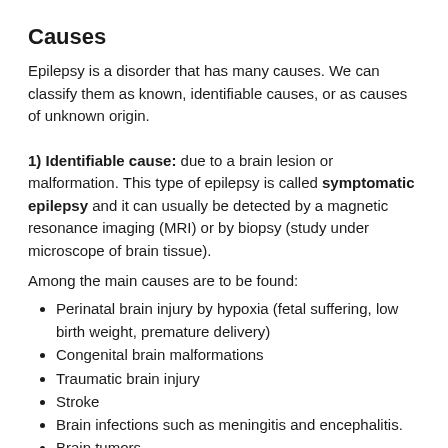Causes
Epilepsy is a disorder that has many causes. We can classify them as known, identifiable causes, or as causes of unknown origin.
1) Identifiable cause: due to a brain lesion or malformation. This type of epilepsy is called symptomatic epilepsy and it can usually be detected by a magnetic resonance imaging (MRI) or by biopsy (study under microscope of brain tissue).
Among the main causes are to be found:
Perinatal brain injury by hypoxia (fetal suffering, low birth weight, premature delivery)
Congenital brain malformations
Traumatic brain injury
Stroke
Brain infections such as meningitis and encephalitis.
Brain tumors.
When epilepsy is caused by identifiable lesions on